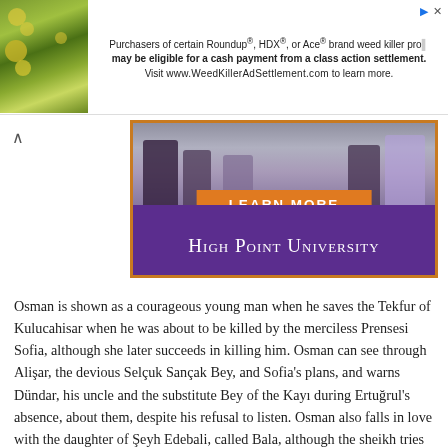[Figure (screenshot): Advertisement banner: Purchasers of certain Roundup®, HDX®, or Ace® brand weed killer products may be eligible for a cash payment from a class action settlement. Visit www.WeedKillerAdSettlement.com to learn more.]
[Figure (screenshot): High Point University advertisement banner with orange 'LEARN MORE' button and purple background with university name in white serif text.]
Osman is shown as a courageous young man when he saves the Tekfur of Kulucahisar when he was about to be killed by the merciless Prensesi Sofia, although she later succeeds in killing him. Osman can see through Alişar, the devious Selçuk Sançak Bey, and Sofia's plans, and warns Dündar, his uncle and the substitute Bey of the Kayı during Ertuğrul's absence, about them, despite his refusal to listen. Osman also falls in love with the daughter of Şeyh Edebali, called Bala, although the sheikh tries to teach Osman patience by initially not